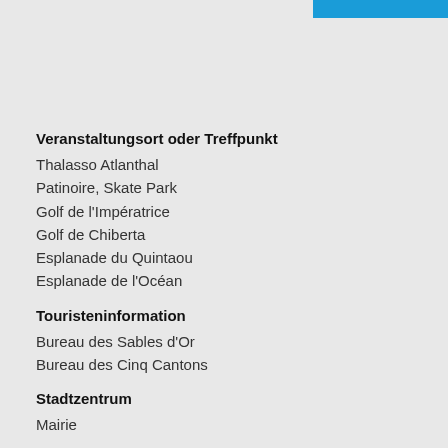[Figure (other): Blue decorative bar in top-right corner]
Veranstaltungsort oder Treffpunkt
Thalasso Atlanthal
Patinoire, Skate Park
Golf de l'Impératrice
Golf de Chiberta
Esplanade du Quintaou
Esplanade de l'Océan
Touristeninformation
Bureau des Sables d'Or
Bureau des Cinq Cantons
Stadtzentrum
Mairie
Stadt
La Barre